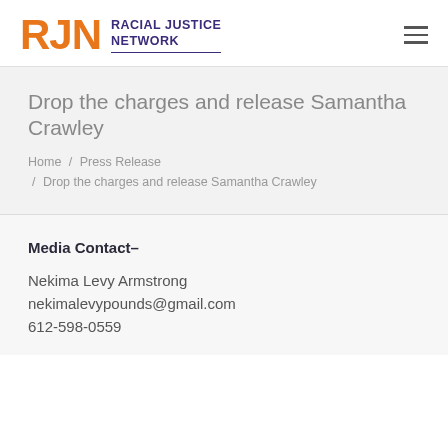RJN RACIAL JUSTICE NETWORK
Drop the charges and release Samantha Crawley
Home / Press Release / Drop the charges and release Samantha Crawley
Media Contact–
Nekima Levy Armstrong
nekimalevypounds@gmail.com
612-598-0559